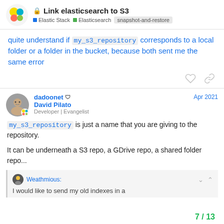Link elasticsearch to S3 | Elastic Stack | Elasticsearch | snapshot-and-restore
quite understand if my_s3_repository corresponds to a local folder or a folder in the bucket, because both sent me the same error
dadoonet — David Pilato — Developer | Evangelist — Apr 2021
my_s3_repository is just a name that you are giving to the repository.

It can be underneath a S3 repo, a GDrive repo, a shared folder repo...
Weathmious:
I would like to send my old indexes in a
7 / 13